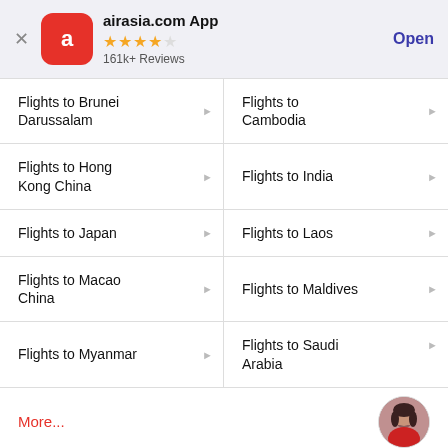airasia.com App · 4.5 stars · 161k+ Reviews · Open
Flights to Brunei Darussalam
Flights to Cambodia
Flights to Hong Kong China
Flights to India
Flights to Japan
Flights to Laos
Flights to Macao China
Flights to Maldives
Flights to Myanmar
Flights to Saudi Arabia
More...
Explore These Popular Cities with